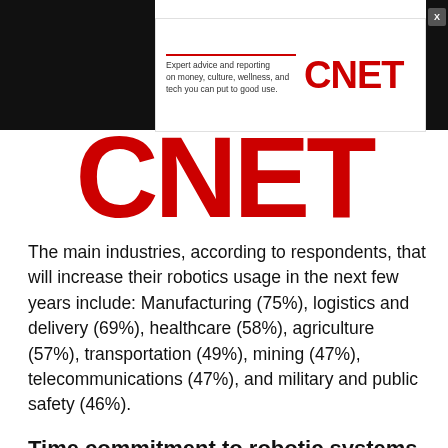[Figure (logo): CNET advertisement banner with small CNET logo and tagline 'Expert advice and reporting on money, culture, wellness, and tech you can put to good use.' and large red CNET logo below]
The main industries, according to respondents, that will increase their robotics usage in the next few years include: Manufacturing (75%), logistics and delivery (69%), healthcare (58%), agriculture (57%), transportation (49%), mining (47%), telecommunications (47%), and military and public safety (46%).
Time commitment to robotic systems
Compared to other systems supported by IT, about half of respondents (52%) say that robotic systems